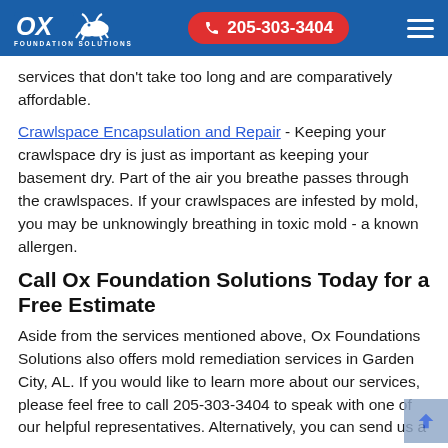Ox Foundation Solutions | 205-303-3404
services that don't take too long and are comparatively affordable.
Crawlspace Encapsulation and Repair - Keeping your crawlspace dry is just as important as keeping your basement dry. Part of the air you breathe passes through the crawlspaces. If your crawlspaces are infested by mold, you may be unknowingly breathing in toxic mold - a known allergen.
Call Ox Foundation Solutions Today for a Free Estimate
Aside from the services mentioned above, Ox Foundations Solutions also offers mold remediation services in Garden City, AL. If you would like to learn more about our services, please feel free to call 205-303-3404 to speak with one of our helpful representatives. Alternatively, you can send us a